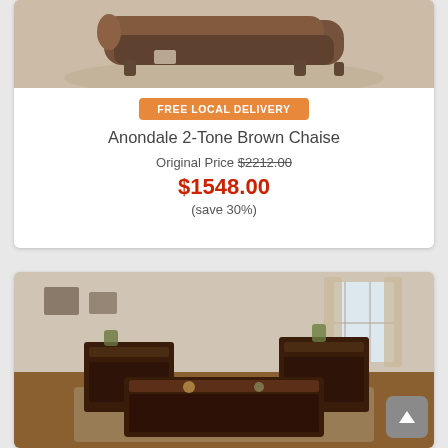[Figure (photo): Photo of Anondale 2-Tone Brown Chaise lounge on a light background]
FREE LOCAL DELIVERY
Anondale 2-Tone Brown Chaise
Original Price $2212.00
$1548.00
(save 30%)
[Figure (photo): Photo of dark wood coffee table and end tables set in a living room]